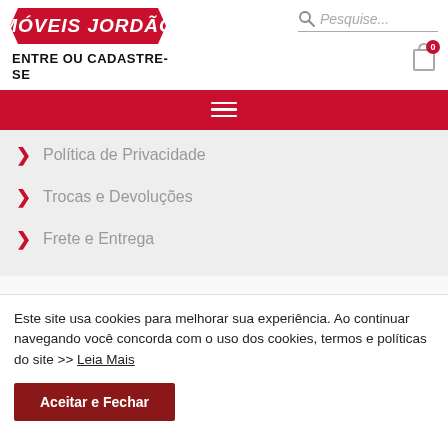[Figure (logo): Móveis Jordão logo with red background and italic bold text]
ENTRE OU CADASTRE-SE
[Figure (other): Search bar with magnifying glass icon and placeholder 'Pesquise...' and cart icon with 0 badge]
[Figure (other): Red navigation bar with hamburger menu icon]
Política de Privacidade
Trocas e Devoluções
Frete e Entrega
Este site usa cookies para melhorar sua experiência. Ao continuar navegando você concorda com o uso dos cookies, termos e políticas do site >> Leia Mais
Aceitar e Fechar